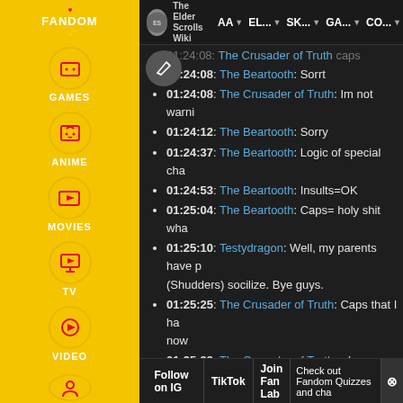[Figure (screenshot): Fandom sidebar with yellow background showing navigation icons for Games, Anime, Movies, TV, Video]
The Elder Scrolls Wiki | AA | EL... | SK... | GA... | CO...
01:24:08: The Beartooth: Sorrt
01:24:08: The Crusader of Truth: Im not warni
01:24:12: The Beartooth: Sorry
01:24:37: The Beartooth: Logic of special cha
01:24:53: The Beartooth: Insults=OK
01:25:04: The Beartooth: Caps= holy shit wha
01:25:10: Testydragon: Well, my parents have p (Shudders) socilize. Bye guys.
01:25:25: The Crusader of Truth: Caps that I ha now
01:25:29: The Crusader of Truth: o/
01:25:47: Testydragon: *Socialize
01:25:47: The Crusader of Truth: As for whatev
Follow on IG | TikTok | Join Fan Lab | Check out Fandom Quizzes and cha